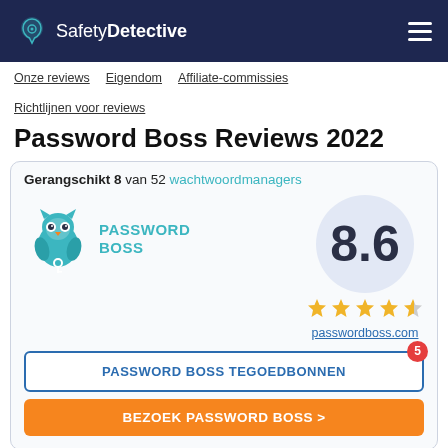SafetyDetective
Onze reviews  Eigendom  Affiliate-commissies  Richtlijnen voor reviews
Password Boss Reviews 2022
Gerangschikt 8 van 52 wachtwoordmanagers
[Figure (logo): Password Boss owl logo with teal color and key, with text PASSWORD BOSS]
8.6 — 4.3 out of 5 stars — passwordboss.com
PASSWORD BOSS TEGOEDBONNEN
BEZOEK PASSWORD BOSS >